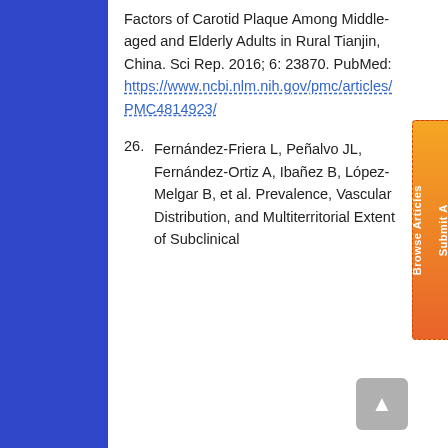Factors of Carotid Plaque Among Middle-aged and Elderly Adults in Rural Tianjin, China. Sci Rep. 2016; 6: 23870. PubMed: https://www.ncbi.nlm.nih.gov/pmc/articles/PMC4814923/
26. Fernández-Friera L, Peñalvo JL, Fernández-Ortiz A, Ibañez B, López-Melgar B, et al. Prevalence, Vascular Distribution, and Multiterritorial Extent of Subclinical